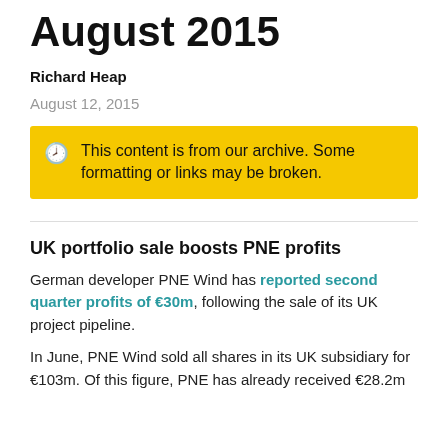August 2015
Richard Heap
August 12, 2015
This content is from our archive. Some formatting or links may be broken.
UK portfolio sale boosts PNE profits
German developer PNE Wind has reported second quarter profits of €30m, following the sale of its UK project pipeline.
In June, PNE Wind sold all shares in its UK subsidiary for €103m. Of this figure, PNE has already received €28.2m